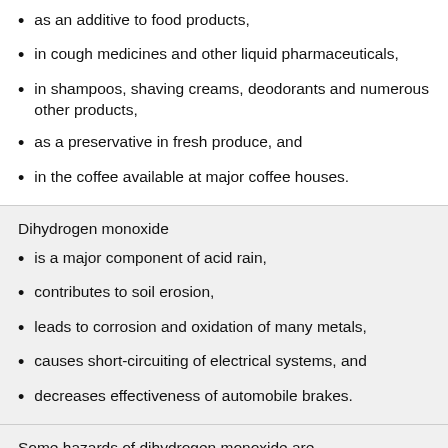as an additive to food products,
in cough medicines and other liquid pharmaceuticals,
in shampoos, shaving creams, deodorants and numerous other products,
as a preservative in fresh produce, and
in the coffee available at major coffee houses.
Dihydrogen monoxide
is a major component of acid rain,
contributes to soil erosion,
leads to corrosion and oxidation of many metals,
causes short-circuiting of electrical systems, and
decreases effectiveness of automobile brakes.
Some hazards of dihydrogen monoxide are
death due to accidental inhalation of liquid DHMO, even in